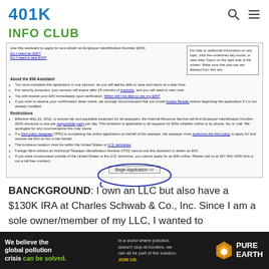401K
INFO CLUB
[Figure (screenshot): Screenshot of IRS EIN Assistant web page showing instructions for applying for an Employer Identification Number, with bullet points about the EIN Assistant and Restrictions, and a 'Begin Application >>' button circled in blue pen.]
BANCKGROUND: I own an LLC but also have a $130K IRA at Charles Schwab & Co., Inc. Since I am a sole owner/member of my LLC, I wanted to
[Figure (infographic): Pure Earth advertisement banner: 'We believe the global pollution crisis can be solved. In a world where pollution doesn't stop at borders, we can all be part of the solution. JOIN US.' with Pure Earth logo.]